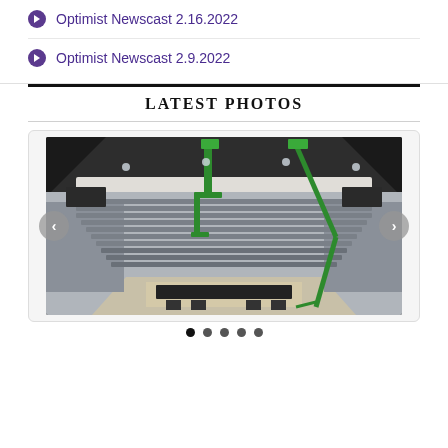Optimist Newscast 2.16.2022
Optimist Newscast 2.9.2022
LATEST PHOTOS
[Figure (photo): Interior view of an arena under construction or renovation. Green boom lift machines are visible, rows of gray seats surround a basketball court floor area. The ceiling is dark, and equipment is scattered on the court.]